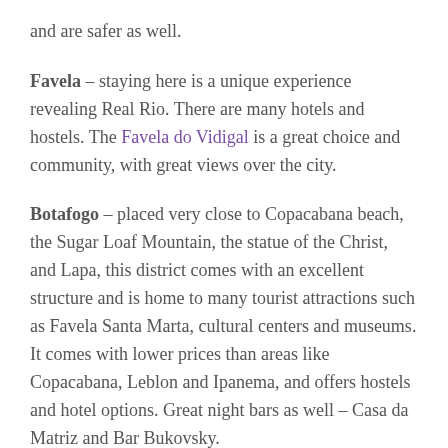and are safer as well.
Favela – staying here is a unique experience revealing Real Rio. There are many hotels and hostels. The Favela do Vidigal is a great choice and community, with great views over the city.
Botafogo – placed very close to Copacabana beach, the Sugar Loaf Mountain, the statue of the Christ, and Lapa, this district comes with an excellent structure and is home to many tourist attractions such as Favela Santa Marta, cultural centers and museums. It comes with lower prices than areas like Copacabana, Leblon and Ipanema, and offers hostels and hotel options. Great night bars as well – Casa da Matriz and Bar Bukovsky.
Santa Teresa – often called the 'Montmartre of Rio de Janeiro', the neighborhood is set on hills, enjoying peaceful small town atmosphere. It has beautiful